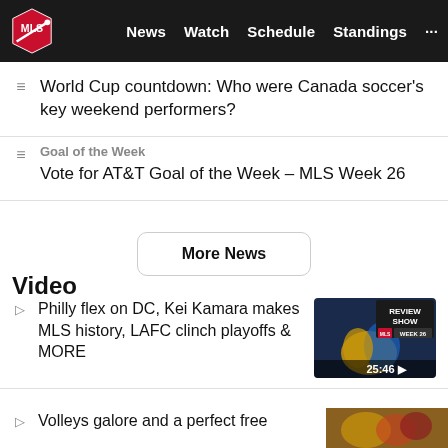MLS — News  Watch  Schedule  Standings  ...
World Cup countdown: Who were Canada soccer's key weekend performers?
Goal of the Week
Vote for AT&T Goal of the Week – MLS Week 26
More News
Video
Philly flex on DC, Kei Kamara makes MLS history, LAFC clinch playoffs & MORE
[Figure (screenshot): Review Show Week 26 video thumbnail showing soccer players celebrating, with timestamp 25:46]
Volleys galore and a perfect free
[Figure (photo): Soccer players photo thumbnail]